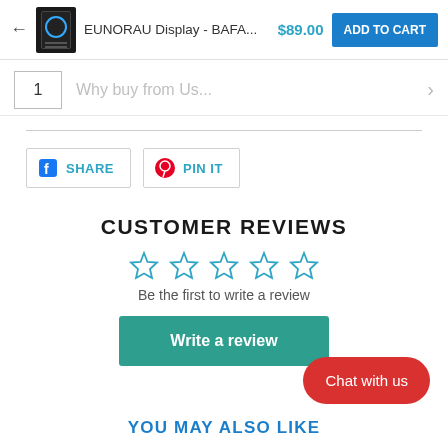EUNORAU Display - BAFA... $89.00 ADD TO CART
1   Why buy from Us...
[Figure (other): Facebook Share button and Pinterest Pin It button]
CUSTOMER REVIEWS
[Figure (other): 5 empty star rating icons in teal outline]
Be the first to write a review
Write a review
Chat with us
YOU MAY ALSO LIKE